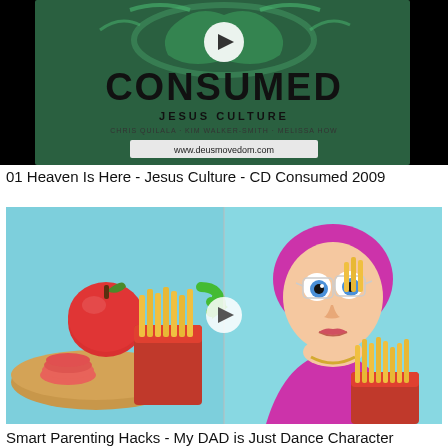[Figure (screenshot): Video thumbnail for 'Consumed' by Jesus Culture. Black background with green decorative art and text 'CONSUMED', 'JESUS CULTURE', artist names, and website www.deusmovedom.com. White play button overlay in center.]
01 Heaven Is Here - Jesus Culture - CD Consumed 2009
[Figure (screenshot): Video thumbnail split into two panels. Left panel: red apple and french fries in a red container with a green arrow, on a wooden board. Right panel: woman with glasses and pink/purple outfit eating french fries with surprised expression. White play button overlay in center.]
Smart Parenting Hacks - My DAD is Just Dance Character